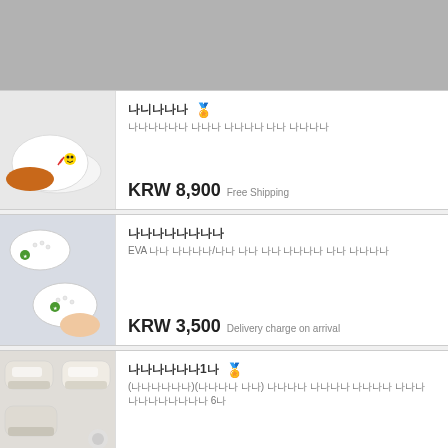[Figure (photo): Gray banner image at top of page]
[Figure (photo): White slip-on shoe with Pokemon character decoration and orange sole]
나니나나나 🏅
나나나나나나 나나나 나나나나 나나 나나나나
KRW 8,900  Free Shipping
[Figure (photo): White EVA perforated slip-on shoes with green badge logo, multiple pairs shown]
나나나나나나나나
EVA 나나 나나나나/나나 나나 나나 나나나나 나나 나나나나
KRW 3,500  Delivery charge on arrival
[Figure (photo): Beige/white chunky sneakers shown in multiple arrangements]
나나나나나나1나 🏅
(나나나나나나)(나나나나 나나) 나나나나 나나나나 나나나나 나나나 나나나나나나나나 6나
KRW 55,200
KRW 43,060  Free Shipping